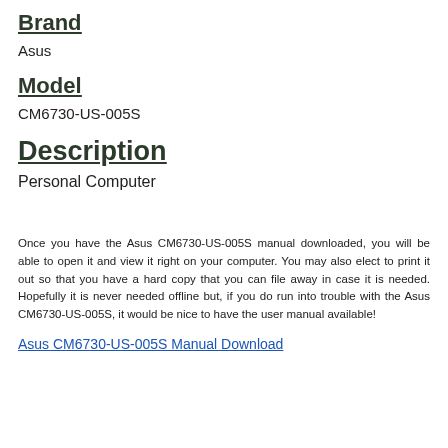Brand
Asus
Model
CM6730-US-005S
Description
Personal Computer
Once you have the Asus CM6730-US-005S manual downloaded, you will be able to open it and view it right on your computer. You may also elect to print it out so that you have a hard copy that you can file away in case it is needed. Hopefully it is never needed offline but, if you do run into trouble with the Asus CM6730-US-005S, it would be nice to have the user manual available!
Asus CM6730-US-005S Manual Download